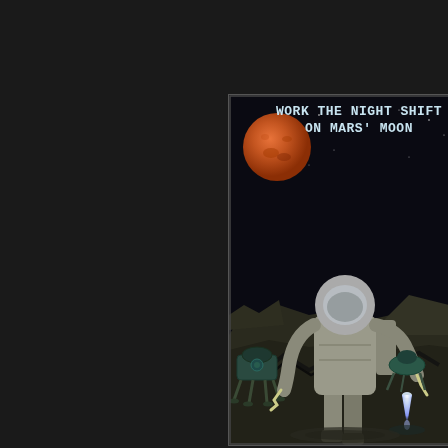[Figure (illustration): Retro science fiction travel poster showing an astronaut in a spacesuit standing on the surface of Phobos (Mars' moon), with Mars visible in the black starry sky above. A robotic lander with legs is visible on the left, and another small spacecraft with a rocket exhaust flame is in the background right. Rocky terrain with cracks in the foreground. Title text reads 'WORK THE NIGHT SHIFT ON MARS' MOON' in white/light blue bold monospace letters at the top.]